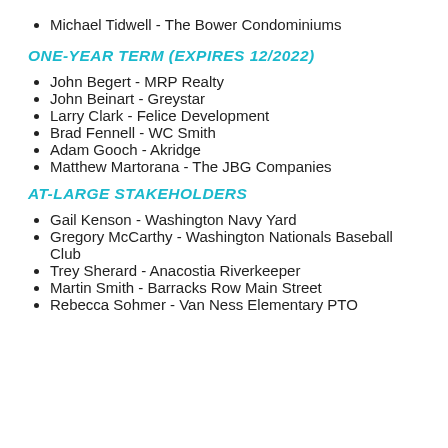Michael Tidwell - The Bower Condominiums
ONE-YEAR TERM (EXPIRES 12/2022)
John Begert - MRP Realty
John Beinart - Greystar
Larry Clark - Felice Development
Brad Fennell - WC Smith
Adam Gooch - Akridge
Matthew Martorana - The JBG Companies
AT-LARGE STAKEHOLDERS
Gail Kenson - Washington Navy Yard
Gregory McCarthy - Washington Nationals Baseball Club
Trey Sherard - Anacostia Riverkeeper
Martin Smith - Barracks Row Main Street
Rebecca Sohmer - Van Ness Elementary PTO